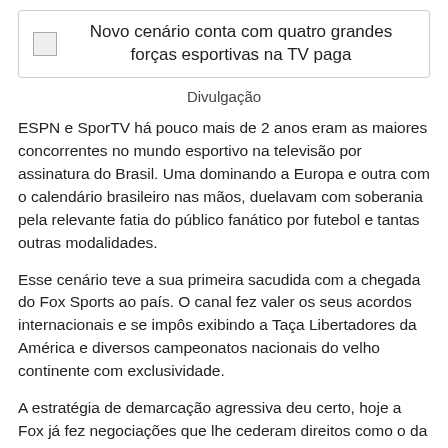[Figure (other): Header image with placeholder icon and title: Novo cenário conta com quatro grandes forças esportivas na TV paga]
Divulgação
ESPN e SporTV há pouco mais de 2 anos eram as maiores concorrentes no mundo esportivo na televisão por assinatura do Brasil. Uma dominando a Europa e outra com o calendário brasileiro nas mãos, duelavam com soberania pela relevante fatia do público fanático por futebol e tantas outras modalidades.
Esse cenário teve a sua primeira sacudida com a chegada do Fox Sports ao país. O canal fez valer os seus acordos internacionais e se impôs exibindo a Taça Libertadores da América e diversos campeonatos nacionais do velho continente com exclusividade.
A estratégia de demarcação agressiva deu certo, hoje a Fox já fez negociações que lhe cederam direitos como o da Olimpíada do Rio para compartilhar a Libertadores